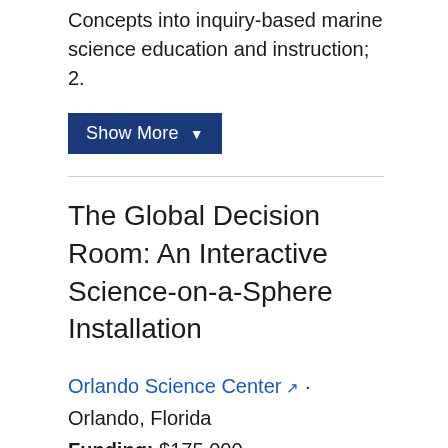Concepts into inquiry-based marine science education and instruction; 2.
Show More ▼
The Global Decision Room: An Interactive Science-on-a-Sphere Installation
Orlando Science Center · Orlando, Florida
Funding: $175,000
Year: 2006
The Orlando Science Center has assembled a project team to create a unique environmental science